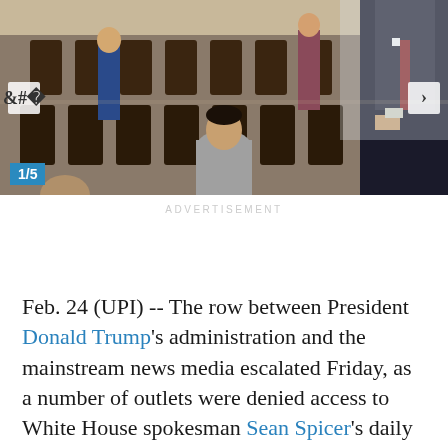[Figure (photo): Press briefing room with journalists and a man in a dark suit on the right, rows of dark wooden chairs, people standing and using phones/notebooks. Navigation arrows on left and right. Badge showing 1/5 in bottom left corner.]
ADVERTISEMENT
Feb. 24 (UPI) -- The row between President Donald Trump's administration and the mainstream news media escalated Friday, as a number of outlets were denied access to White House spokesman Sean Spicer's daily briefing -- a move some say is an